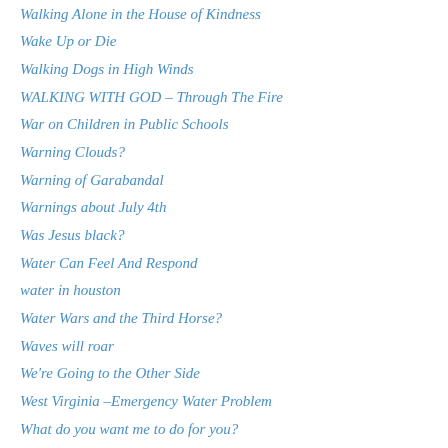Walking Alone in the House of Kindness
Wake Up or Die
Walking Dogs in High Winds
WALKING WITH GOD – Through The Fire
War on Children in Public Schools
Warning Clouds?
Warning of Garabandal
Warnings about July 4th
Was Jesus black?
Water Can Feel And Respond
water in houston
Water Wars and the Third Horse?
Waves will roar
We're Going to the Other Side
West Virginia –Emergency Water Problem
What do you want me to do for you?
What Does a Currency Collapse Look Like?
What is a Christian?
What is the Smell of Rain?
What kind of covenant will the Antichrist really confirm?